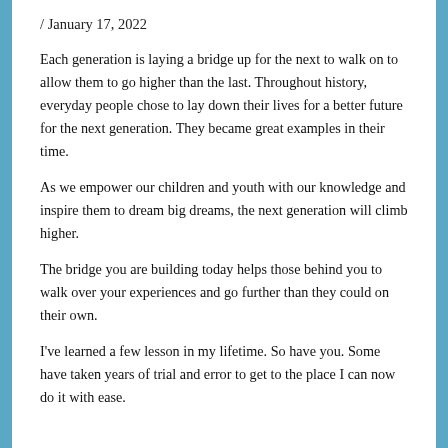/ January 17, 2022
Each generation is laying a bridge up for the next to walk on to allow them to go higher than the last. Throughout history, everyday people chose to lay down their lives for a better future for the next generation. They became great examples in their time.
As we empower our children and youth with our knowledge and inspire them to dream big dreams, the next generation will climb higher.
The bridge you are building today helps those behind you to walk over your experiences and go further than they could on their own.
I've learned a few lesson in my lifetime. So have you. Some have taken years of trial and error to get to the place I can now do it with ease.